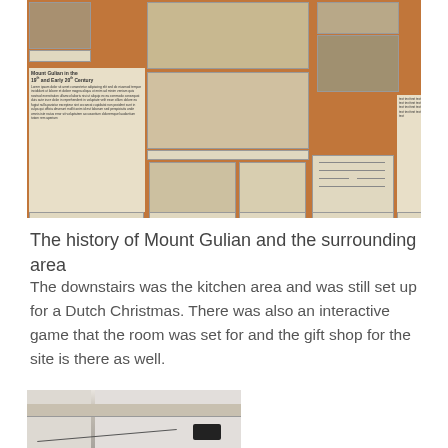[Figure (photo): A museum exhibit board with orange/brown background showing historical photos, documents, text panels, architectural drawings, and floor plans about Mount Gulian and surrounding area history.]
The history of Mount Gulian and the surrounding area
The downstairs was the kitchen area and was still set up for a Dutch Christmas. There was also an interactive game that the room was set for and the gift shop for the site is there as well.
[Figure (photo): Interior photo of a room at Mount Gulian showing white ceiling beams and walls, with some dark equipment visible.]